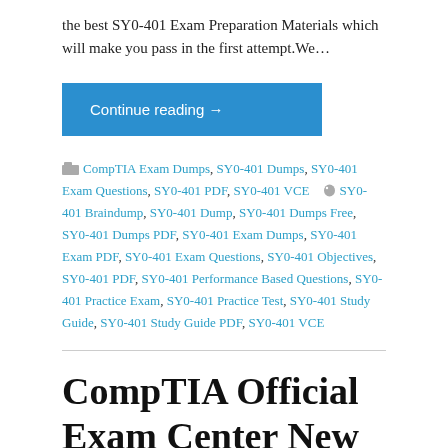the best SY0-401 Exam Preparation Materials which will make you pass in the first attempt.We…
Continue reading →
CompTIA Exam Dumps, SY0-401 Dumps, SY0-401 Exam Questions, SY0-401 PDF, SY0-401 VCE   SY0-401 Braindump, SY0-401 Dump, SY0-401 Dumps Free, SY0-401 Dumps PDF, SY0-401 Exam Dumps, SY0-401 Exam PDF, SY0-401 Exam Questions, SY0-401 Objectives, SY0-401 PDF, SY0-401 Performance Based Questions, SY0-401 Practice Exam, SY0-401 Practice Test, SY0-401 Study Guide, SY0-401 Study Guide PDF, SY0-401 VCE
CompTIA Official Exam Center New Released SY0-401 Practice